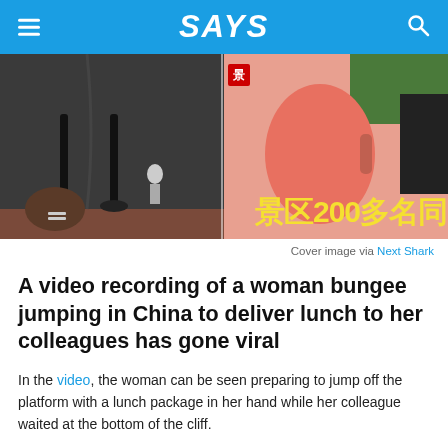SAYS
[Figure (photo): Split cover image showing two video stills: left side shows a person in athletic wear bungee jumping from a platform with a cord attached; right side shows a person in pink clothing near greenery, with Chinese text overlay reading 景区200多名同]
Cover image via Next Shark
A video recording of a woman bungee jumping in China to deliver lunch to her colleagues has gone viral
In the video, the woman can be seen preparing to jump off the platform with a lunch package in her hand while her colleague waited at the bottom of the cliff.
According to Next Shark, the woman, Wan Tiandi is an